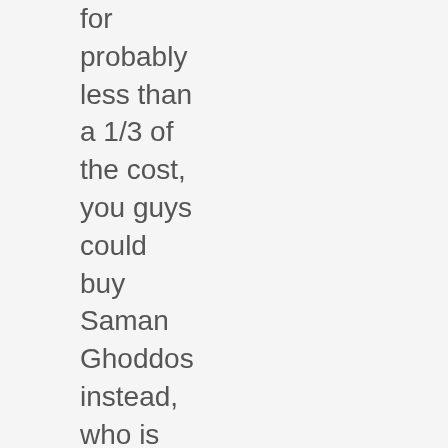for probably less than a 1/3 of the cost, you guys could buy Saman Ghoddos instead, who is far more efficient choice in almost all front 4 positions ..!? a very versatile scoring winger of sorts? with all the vision, calm and class of a